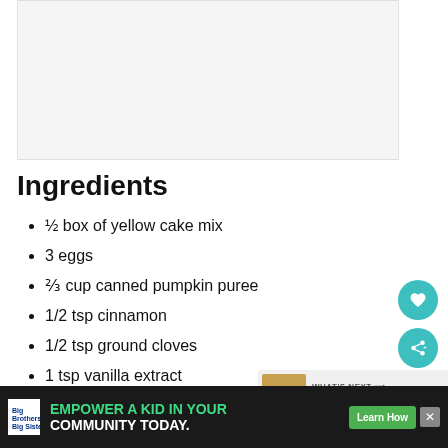[Figure (photo): Recipe photo placeholder showing baked goods, light gray background]
Ingredients
½ box of yellow cake mix
3 eggs
⅔ cup canned pumpkin puree
1/2 tsp cinnamon
1/2 tsp ground cloves
1 tsp vanilla extract
[Figure (photo): What's Next thumbnail: This Pumpkin Swirl...]
[Figure (other): Advertisement: Big Brothers Big Sisters — EMPOWER A KID IN YOUR COMMUNITY TODAY. Learn How button.]